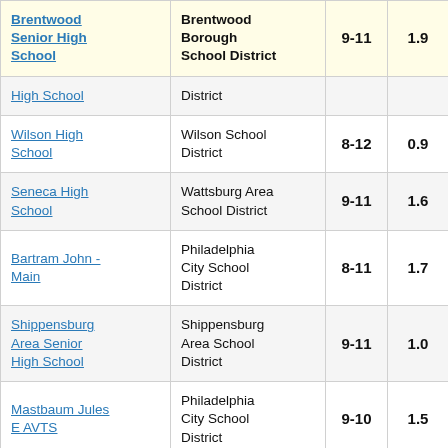| School | District | Grades | Value |  |
| --- | --- | --- | --- | --- |
| Brentwood Senior High School | Brentwood Borough School District | 9-11 | 1.9 | 3 |
| High School | District |  |  |  |
| Wilson High School | Wilson School District | 8-12 | 0.9 |  |
| Seneca High School | Wattsburg Area School District | 9-11 | 1.6 |  |
| Bartram John - Main | Philadelphia City School District | 8-11 | 1.7 |  |
| Shippensburg Area Senior High School | Shippensburg Area School District | 9-11 | 1.0 |  |
| Mastbaum Jules E AVTS | Philadelphia City School District | 9-10 | 1.5 |  |
| Ridley High | Ridley School | 9-10 | 0.9 |  |